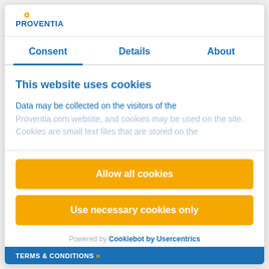[Figure (logo): Proventia logo with orange dot above letter i]
Consent	Details	About
This website uses cookies
Data may be collected on the visitors of the Proventia.com website, and cookies may be used on the site. Cookies are small text files that are stored on the
Allow all cookies
Use necessary cookies only
Powered by Cookiebot by Usercentrics
TERMS & CONDITIONS »